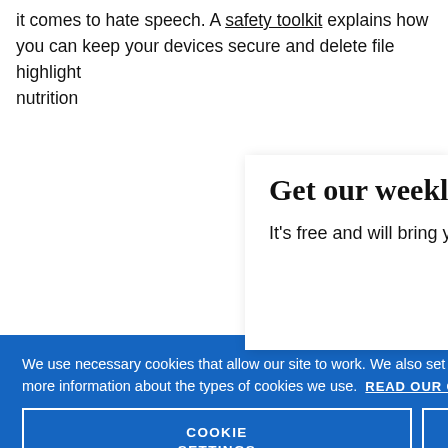it comes to hate speech. A safety toolkit explains how you can keep your devices secure and delete file… highlight… nutrition…
Get our weekly email
It's free and will bring you the best from
We use necessary cookies that allow our site to work. We also set optional cookies that help us improve our website. For more information about the types of cookies we use. READ OUR COOKIES POLICY HERE
COOKIE SETTINGS
ALLOW ALL COOKIES
data.
10) Ampl